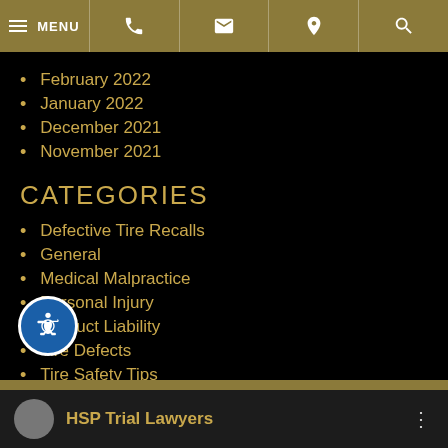MENU | Phone | Email | Location | Search
February 2022
January 2022
December 2021
November 2021
CATEGORIES
Defective Tire Recalls
General
Medical Malpractice
Personal Injury
Product Liability
Tire Defects
Tire Safety Tips
Truck Tires
Wrongful Death
HSP Trial Lawyers